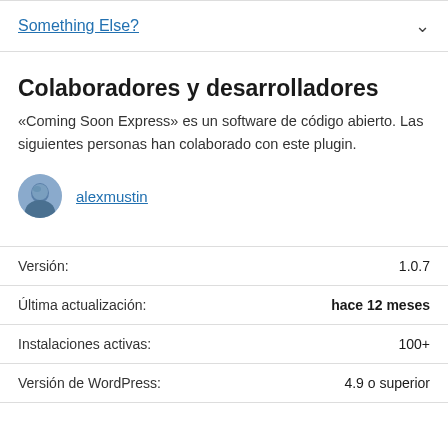Something Else?
Colaboradores y desarrolladores
«Coming Soon Express» es un software de código abierto. Las siguientes personas han colaborado con este plugin.
alexmustin
|  |  |
| --- | --- |
| Versión: | 1.0.7 |
| Última actualización: | hace 12 meses |
| Instalaciones activas: | 100+ |
| Versión de WordPress: | 4.9 o superior |